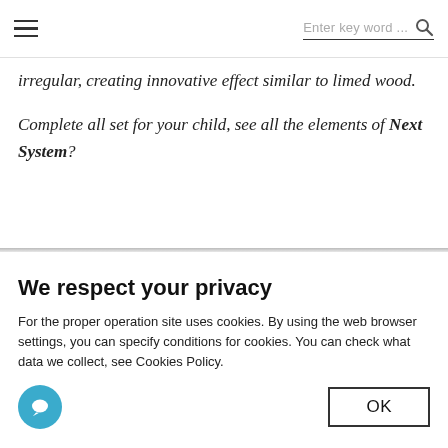☰  Enter key word ...  🔍
irregular, creating innovative effect similar to limed wood.

Complete all set for your child, see all the elements of Next System?
We respect your privacy
For the proper operation site uses cookies. By using the web browser settings, you can specify conditions for cookies. You can check what data we collect, see Cookies Policy.
OK